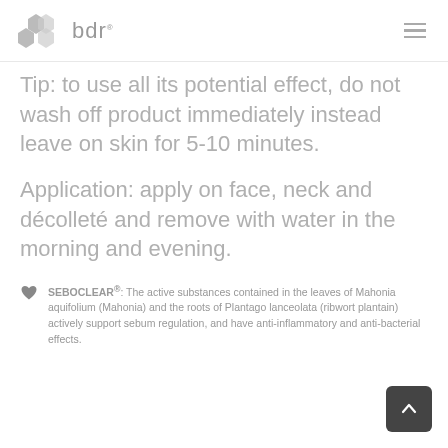bdr
Tip: to use all its potential effect, do not wash off product immediately instead leave on skin for 5-10 minutes.
Application: apply on face, neck and décolleté and remove with water in the morning and evening.
SEBOCLEAR®: The active substances contained in the leaves of Mahonia aquifolium (Mahonia) and the roots of Plantago lanceolata (ribwort plantain) actively support sebum regulation, and have anti-inflammatory and anti-bacterial effects.